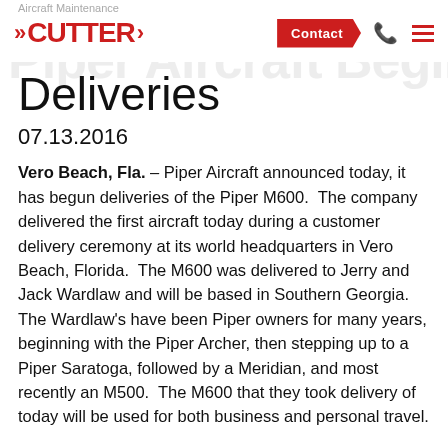Aircraft Maintenance
CUTTER | Contact
Piper Aircraft Begins M600 Deliveries
07.13.2016
Vero Beach, Fla. – Piper Aircraft announced today, it has begun deliveries of the Piper M600.  The company delivered the first aircraft today during a customer delivery ceremony at its world headquarters in Vero Beach, Florida.  The M600 was delivered to Jerry and Jack Wardlaw and will be based in Southern Georgia.  The Wardlaw's have been Piper owners for many years, beginning with the Piper Archer, then stepping up to a Piper Saratoga, followed by a Meridian, and most recently an M500.  The M600 that they took delivery of today will be used for both business and personal travel.